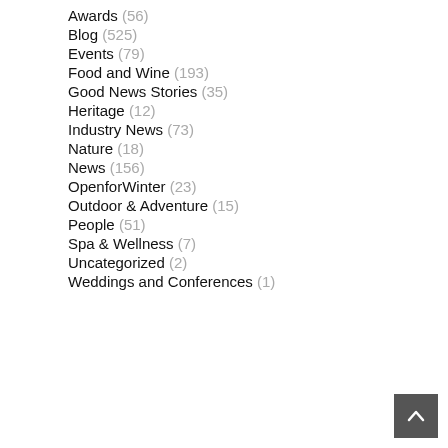Awards (56)
Blog (525)
Events (79)
Food and Wine (193)
Good News Stories (35)
Heritage (12)
Industry News (73)
Nature (18)
News (156)
OpenforWinter (23)
Outdoor & Adventure (15)
People (51)
Spa & Wellness (7)
Uncategorized (2)
Weddings and Conferences (1)